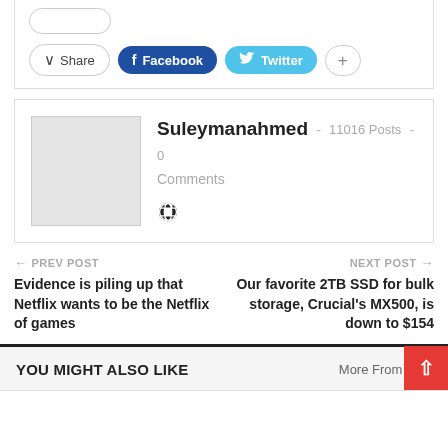[Figure (other): Share buttons row: Share, Facebook, Twitter, plus button]
[Figure (other): Author profile card: avatar placeholder, name Suleymanahmed, 11016 Posts, 0 Comments, globe icon]
Suleymanahmed - 11016 Posts - 0 Comments
← PREV POST
Evidence is piling up that Netflix wants to be the Netflix of games
NEXT POST →
Our favorite 2TB SSD for bulk storage, Crucial's MX500, is down to $154
YOU MIGHT ALSO LIKE
More From Auth